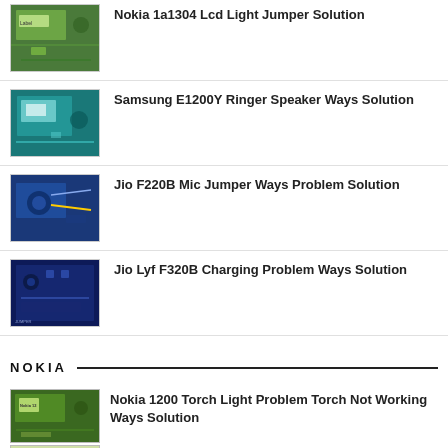Nokia 1a1304 Lcd Light Jumper Solution
Samsung E1200Y Ringer Speaker Ways Solution
Jio F220B Mic Jumper Ways Problem Solution
Jio Lyf F320B Charging Problem Ways Solution
NOKIA
Nokia 1200 Torch Light Problem Torch Not Working Ways Solution
Unknown • Aug 01, 2022